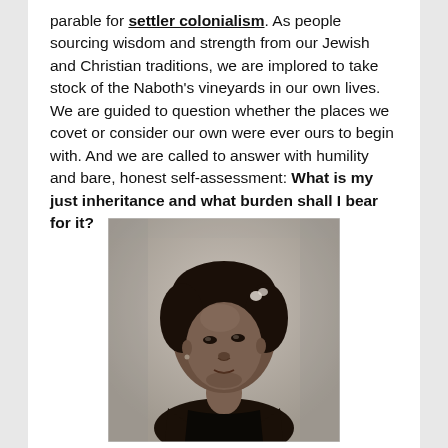parable for settler colonialism. As people sourcing wisdom and strength from our Jewish and Christian traditions, we are implored to take stock of the Naboth's vineyards in our own lives. We are guided to question whether the places we covet or consider our own were ever ours to begin with. And we are called to answer with humility and bare, honest self-assessment: What is my just inheritance and what burden shall I bear for it?
[Figure (photo): Black and white portrait photograph of a young woman with dark hair styled up with a small flower or bow accessory, wearing dark clothing, looking slightly to the side with a composed expression.]